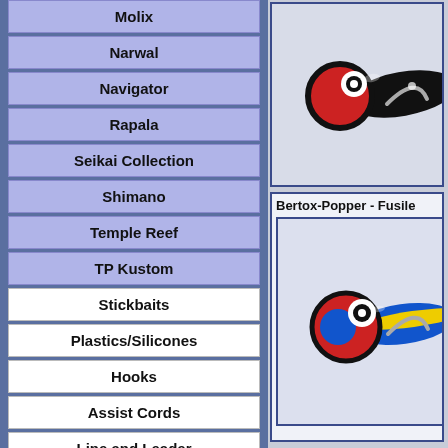Molix
Narwal
Navigator
Rapala
Seikai Collection
Shimano
Temple Reef
TP Kustom
Stickbaits
Plastics/Silicones
Hooks
Assist Cords
Line and Leader
Solid and Split Rings
[Figure (photo): Close-up of a black and red fishing lure popper head with white eye ring]
Bertox-Popper  - Fusile
[Figure (photo): Close-up of a blue, yellow and red fishing lure popper (Bertox-Popper Fusilier) head]